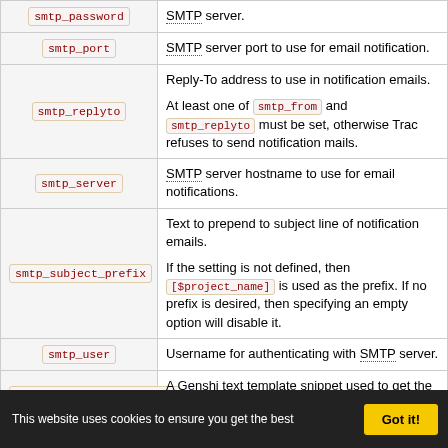| Parameter | Description |
| --- | --- |
| smtp_password | SMTP server. |
| smtp_port | SMTP server port to use for email notification. |
| smtp_replyto | Reply-To address to use in notification emails.

At least one of smtp_from and smtp_replyto must be set, otherwise Trac refuses to send notification mails. |
| smtp_server | SMTP server hostname to use for email notifications. |
| smtp_subject_prefix | Text to prepend to subject line of notification emails.

If the setting is not defined, then [$project_name] is used as the prefix. If no prefix is desired, then specifying an empty option will disable it. |
| smtp_user | Username for authenticating with SMTP server. |
| ticket_subject_template | A Genshi text template snippet used to get the notification subject. |
This website uses cookies to ensure you get the best